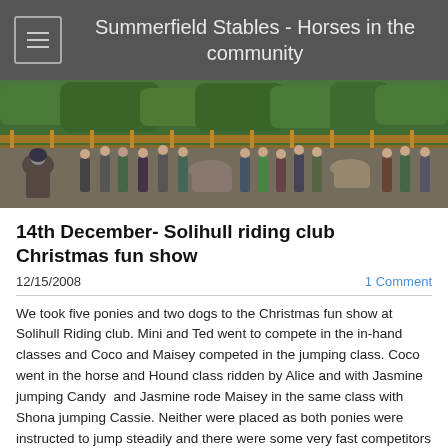Summerfield Stables - Horses in the community
[Figure (photo): Group photo of riders on horses and ponies lined up in an outdoor riding arena with wooden fencing and trees in the background. Multiple riders and handlers visible with various horses and ponies.]
14th December- Solihull riding club Christmas fun show
12/15/2008
1 Comment
We took five ponies and two dogs to the Christmas fun show at Solihull Riding club. Mini and Ted went to compete in the in-hand classes and Coco and Maisey competed in the jumping class. Coco went in the horse and Hound class ridden by Alice and with Jasmine jumping Candy  and Jasmine rode Maisey in the same class with Shona jumping Cassie. Neither were placed as both ponies were instructed to jump steadily and there were some very fast competitors